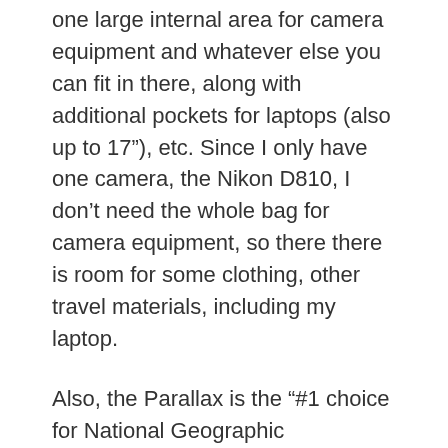one large internal area for camera equipment and whatever else you can fit in there, along with additional pockets for laptops (also up to 17"), etc. Since I only have one camera, the Nikon D810, I don't need the whole bag for camera equipment, so there there is room for some clothing, other travel materials, including my laptop.
Also, the Parallax is the “#1 choice for National Geographic contributing photographer, Andy Mann.” If you’re looking for a celebrity endorsement.
What’s Included?
Included with the Parallax is the backpack of course,